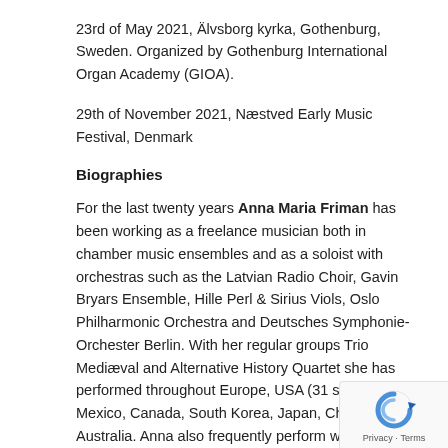23rd of May 2021, Älvsborg kyrka, Gothenburg, Sweden. Organized by Gothenburg International Organ Academy (GIOA).
29th of November 2021, Næstved Early Music Festival, Denmark
Biographies
For the last twenty years Anna Maria Friman has been working as a freelance musician both in chamber music ensembles and as a soloist with orchestras such as the Latvian Radio Choir, Gavin Bryars Ensemble, Hille Perl & Sirius Viols, Oslo Philharmonic Orchestra and Deutsches Symphonie-Orchester Berlin. With her regular groups Trio Mediæval and Alternative History Quartet she has performed throughout Europe, USA (31 states), Mexico, Canada, South Korea, Japan, China and Australia. Anna also frequently perform with the Friman-Ambrosini-Vicens Trio and ensemble Serikon, and has recently participated in projects with Göteborg